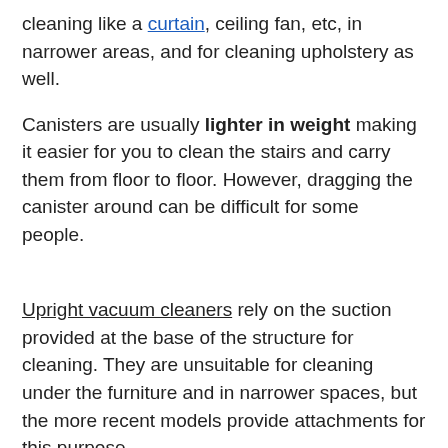cleaning like a curtain, ceiling fan, etc, in narrower areas, and for cleaning upholstery as well.
Canisters are usually lighter in weight making it easier for you to clean the stairs and carry them from floor to floor. However, dragging the canister around can be difficult for some people.
Upright vacuum cleaners rely on the suction provided at the base of the structure for cleaning. They are unsuitable for cleaning under the furniture and in narrower spaces, but the more recent models provide attachments for this purpose.
They are usually heavier making them less suitable for homes with stairs. See our editor's picks on the best vacuum for stairs.
Nonetheless, it is...